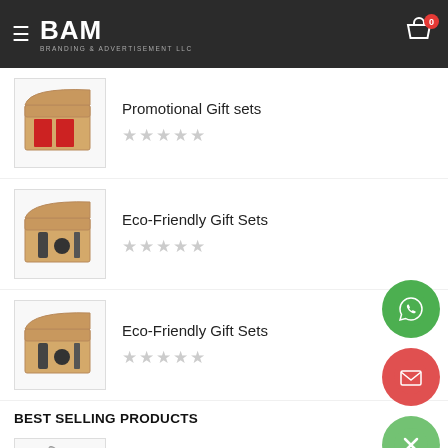BAM Branding & Advertisement LLC - navigation header with cart (0)
[Figure (screenshot): Product thumbnail: Promotional Gift set in open box with red items]
Promotional Gift sets
[Figure (screenshot): 5 empty stars rating]
[Figure (screenshot): Product thumbnail: Eco-Friendly Gift Sets in open box]
Eco-Friendly Gift Sets
[Figure (screenshot): 5 empty stars rating]
[Figure (screenshot): Product thumbnail: Eco-Friendly Gift Sets in open box]
Eco-Friendly Gift Sets
[Figure (screenshot): 5 empty stars rating]
BEST SELLING PRODUCTS
[Figure (screenshot): Product thumbnail: Crystal Pen USB with Stylus (partial)]
Crystal Pen USB with Stylus